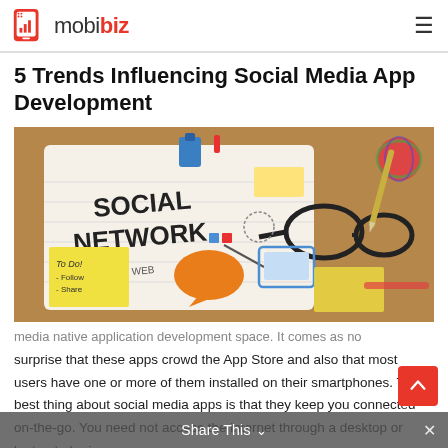mobibiz
5 Trends Influencing Social Media App Development
[Figure (photo): Overhead photo of a desk with a notebook showing 'SOCIAL NETWORK' text, hand-drawn icons, sticky notes reading 'To Do! - Follow - Share', glasses, colorful paper clips, yarn ball, and other office items.]
media native application development space. It comes as no surprise that these apps crowd the App Store and also that most users have one or more of them installed on their smartphones. The best thing about social media apps is that they keep you connected on-the-go. You need not access the internet through a desktop or laptop to be in
Share This